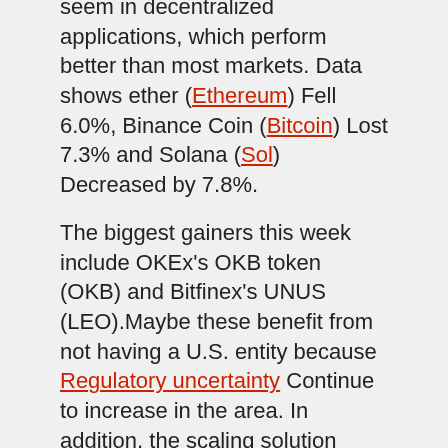seem in decentralized applications, which perform better than most markets. Data shows ether (Ethereum) Fell 6.0%, Binance Coin (Bitcoin) Lost 7.3% and Solana (Sol) Decreased by 7.8%.
The biggest gainers this week include OKEx's OKB token (OKB) and Bitfinex's UNUS (LEO).Maybe these benefit from not having a U.S. entity because Regulatory uncertainty Continue to increase in the area. In addition, the scaling solution Polygon (Matic) And Algorand (ALGO) benefit from Ethereum's $40 or higher network transaction fee.
Terra (LUNA) became the best performer last week after its built-in token burning mechanism Significantly reduced supply.At the